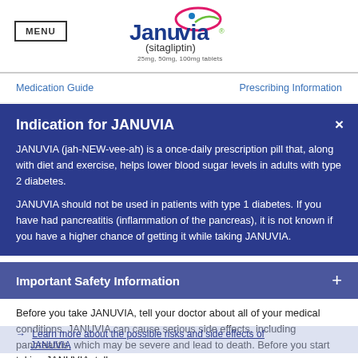[Figure (logo): Januvia (sitagliptin) brand logo with pink/green swoosh graphic. 25mg, 50mg, 100mg tablets.]
MENU
Medication Guide
Prescribing Information
Indication for JANUVIA
JANUVIA (jah-NEW-vee-ah) is a once-daily prescription pill that, along with diet and exercise, helps lower blood sugar levels in adults with type 2 diabetes.
JANUVIA should not be used in patients with type 1 diabetes. If you have had pancreatitis (inflammation of the pancreas), it is not known if you have a higher chance of getting it while taking JANUVIA.
Important Safety Information
Before you take JANUVIA, tell your doctor about all of your medical conditions. JANUVIA can cause serious side effects, including pancreatitis, which may be severe and lead to death. Before you start taking JANUVIA, tell
→ Learn more about the possible risks and side effects of JANUVIA